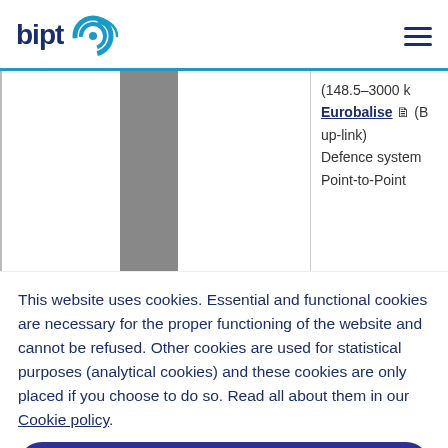bipt logo and navigation menu
[Figure (screenshot): Partial view of a website page showing a gray vertical bar on the left and truncated text on the right reading: (148.5-3000 k... Eurobalise (B... up-link) Defence system... Point-to-Point...]
This website uses cookies. Essential and functional cookies are necessary for the proper functioning of the website and cannot be refused. Other cookies are used for statistical purposes (analytical cookies) and these cookies are only placed if you choose to do so. Read all about them in our Cookie policy.
Ok, I understand
Continue with analytical cookies
Configure cookies